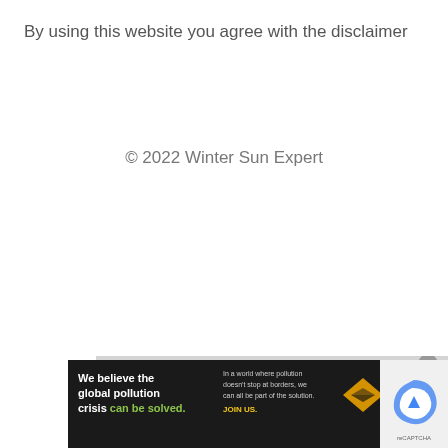By using this website you agree with the disclaimer
© 2022 Winter Sun Expert
[Figure (other): Video player overlay with message: No compatible source was found for this media.]
[Figure (other): Advertisement banner: We believe the global pollution crisis can be solved. Pure Earth logo. In a world where pollution doesn't stop at borders, we can all be part of the solution. JOIN US.]